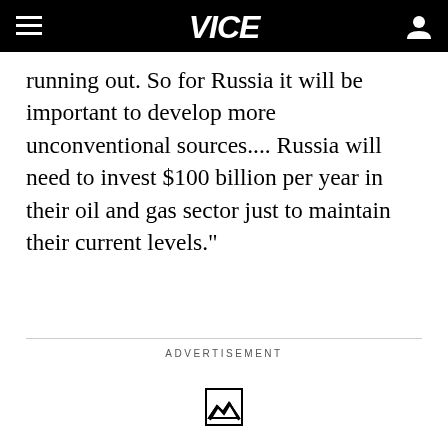VICE
running out. So for Russia it will be important to develop more unconventional sources.... Russia will need to invest $100 billion per year in their oil and gas sector just to maintain their current levels."
ADVERTISEMENT
[Figure (other): Broken/placeholder image icon in advertisement area]